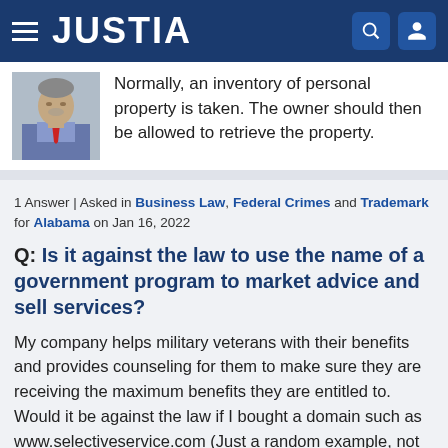JUSTIA
[Figure (photo): Attorney headshot photo — man in blue shirt and red tie]
Normally, an inventory of personal property is taken. The owner should then be allowed to retrieve the property.
1 Answer | Asked in Business Law, Federal Crimes and Trademark for Alabama on Jan 16, 2022
Q: Is it against the law to use the name of a government program to market advice and sell services?
My company helps military veterans with their benefits and provides counseling for them to make sure they are receiving the maximum benefits they are entitled to. Would it be against the law if I bought a domain such as www.selectiveservice.com (Just a random example, not